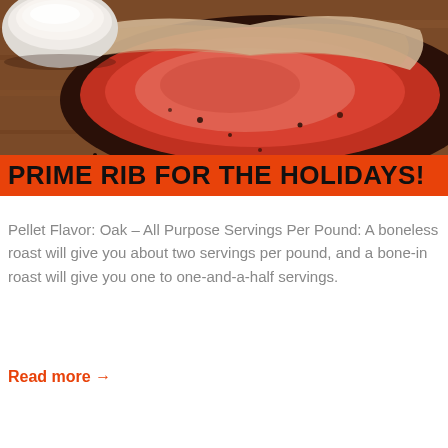[Figure (photo): Close-up photo of a sliced prime rib roast on a wooden cutting board, with a white bowl of sauce visible in the upper left corner. The meat shows a dark crust exterior and pink/red interior.]
PRIME RIB FOR THE HOLIDAYS!
Pellet Flavor: Oak – All Purpose Servings Per Pound: A boneless roast will give you about two servings per pound, and a bone-in roast will give you one to one-and-a-half servings.
Read more →